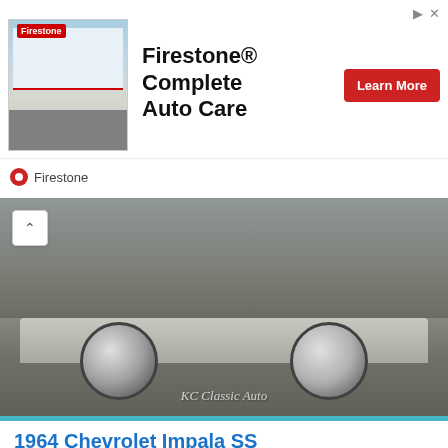[Figure (photo): Firestone Complete Auto Care advertisement banner with store photo, bold text title, and red Learn More button]
[Figure (photo): Classic car underside/wheel view at ground level, KC Classic Auto watermark visible]
1964 Chevrolet Impala SS
47,621 Miles
Pacific, MO
$49,950.00
[Figure (photo): Classic car photo from outside, showing open field and grey sky background]